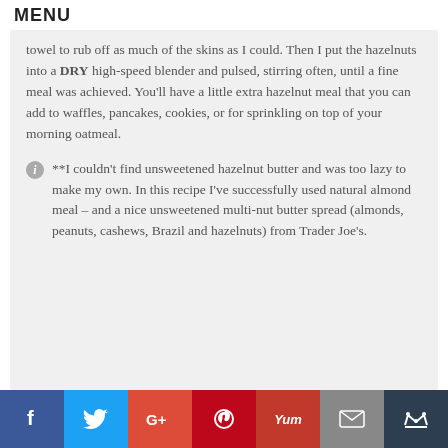MENU
towel to rub off as much of the skins as I could. Then I put the hazelnuts into a DRY high-speed blender and pulsed, stirring often, until a fine meal was achieved. You'll have a little extra hazelnut meal that you can add to waffles, pancakes, cookies, or for sprinkling on top of your morning oatmeal.
**I couldn't find unsweetened hazelnut butter and was too lazy to make my own. In this recipe I've successfully used natural almond meal – and a nice unsweetened multi-nut butter spread (almonds, peanuts, cashews, Brazil and hazelnuts) from Trader Joe's.
f  Twitter  G+  Pinterest  Yum  Mail  Crown